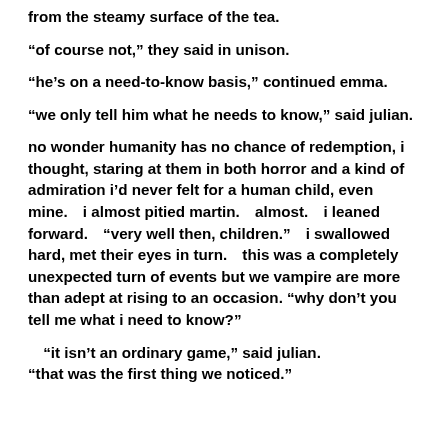from the steamy surface of the tea.
“of course not,” they said in unison.
“he’s on a need-to-know basis,” continued emma.
“we only tell him what he needs to know,” said julian.
no wonder humanity has no chance of redemption, i thought, staring at them in both horror and a kind of admiration i’d never felt for a human child, even mine.  i almost pitied martin.  almost.  i leaned forward.  “very well then, children.”  i swallowed hard, met their eyes in turn.  this was a completely unexpected turn of events but we vampire are more than adept at rising to an occasion.  “why don’t you tell me what i need to know?”
“it isn’t an ordinary game,” said julian.  “that was the first thing we noticed.”